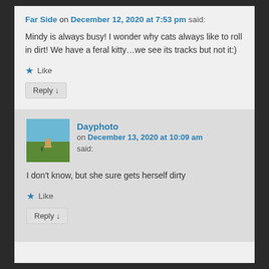Far Side on December 12, 2020 at 7:53 pm said:
Mindy is always busy! I wonder why cats always like to roll in dirt! We have a feral kitty…we see its tracks but not it:)
Like
Reply ↓
Dayphoto on December 13, 2020 at 10:09 am said:
I don't know, but she sure gets herself dirty
Like
Reply ↓